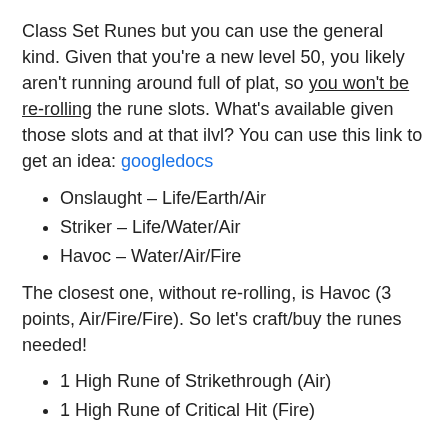Class Set Runes but you can use the general kind.  Given that you're a new level 50, you likely aren't running around full of plat, so you won't be re-rolling the rune slots.   What's available given those slots and at that ilvl?  You can use this link to get an idea: googledocs
Onslaught – Life/Earth/Air
Striker – Life/Water/Air
Havoc – Water/Air/Fire
The closest one, without re-rolling, is Havoc (3 points, Air/Fire/Fire).  So let's craft/buy the runes needed!
1 High Rune of Strikethrough (Air)
1 High Rune of Critical Hit (Fire)